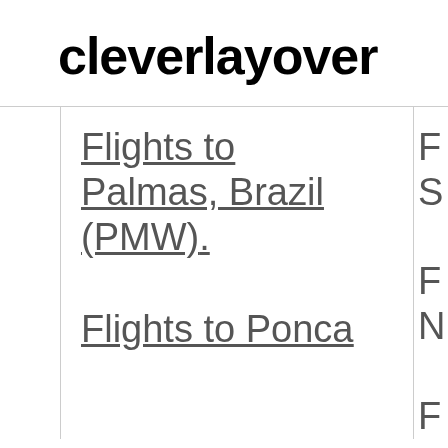cleverlayover
Flights to Palmas, Brazil (PMW)
Flights to Ponca